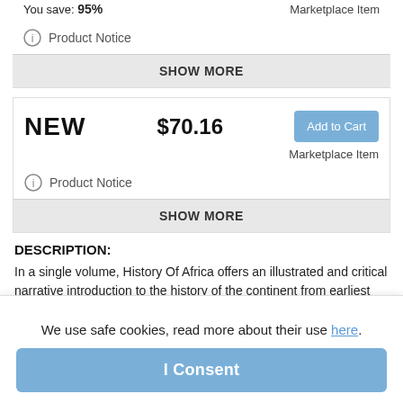You save: 95%
Marketplace Item
Product Notice
SHOW MORE
NEW  $70.16  Add to Cart
Marketplace Item
Product Notice
SHOW MORE
DESCRIPTION:
In a single volume, History Of Africa offers an illustrated and critical narrative introduction to the history of the continent from earliest times to the present day.
We use safe cookies, read more about their use here.
I Consent